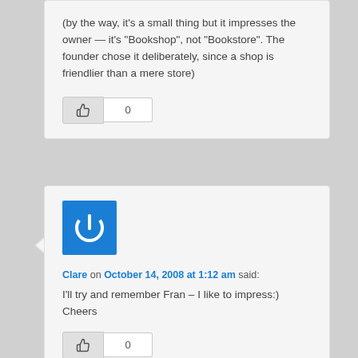(by the way, it's a small thing but it impresses the owner — it's "Bookshop", not "Bookstore". The founder chose it deliberately, since a shop is friendlier than a mere store)
[Figure (other): Thumbs up like button with count 0]
[Figure (illustration): Blue square avatar with white power button icon]
Clare on October 14, 2008 at 1:12 am said:
I'll try and remember Fran – I like to impress:)
Cheers
[Figure (other): Thumbs up like button with count 0]